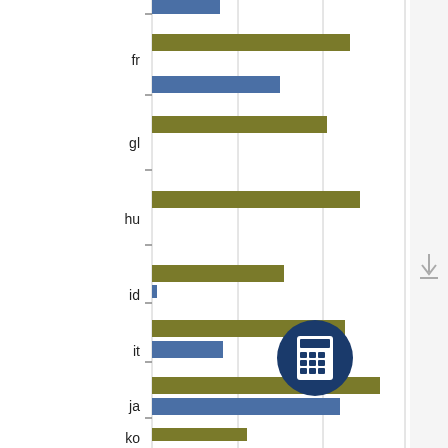[Figure (grouped-bar-chart): Language comparison bar chart]